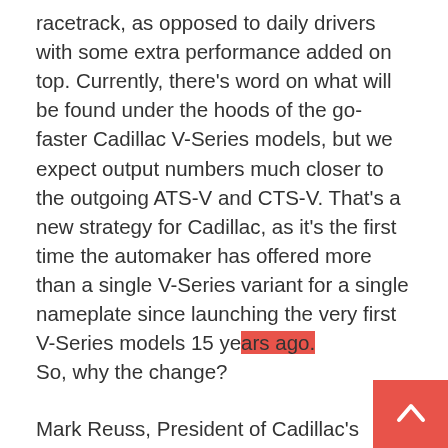racetrack, as opposed to daily drivers with some extra performance added on top. Currently, there's word on what will be found under the hoods of the go-faster Cadillac V-Series models, but we expect output numbers much closer to the outgoing ATS-V and CTS-V. That's a new strategy for Cadillac, as it's the first time the automaker has offered more than a single V-Series variant for a single nameplate since launching the very first V-Series models 15 years ago. So, why the change?
Mark Reuss, President of Cadillac's parent firm – General Motors – recently shed some light on the matter. Apparently, it comes down to just how bonkers those preceding V-Series models truly were.